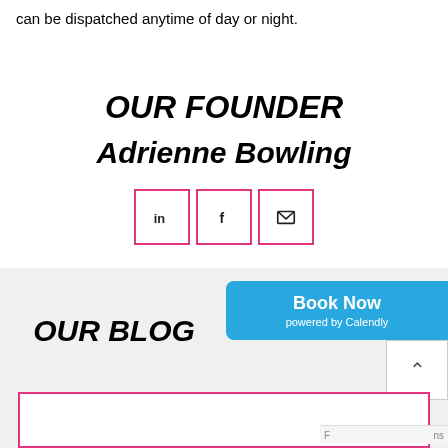can be dispatched anytime of day or night.
OUR FOUNDER
Adrienne Bowling
[Figure (infographic): Three social media icon buttons with pink borders: LinkedIn (in), Facebook (f), and Email (envelope icon)]
OUR BLOG
[Figure (screenshot): Partial screenshot of a bar chart or analytics graphic in blue/purple tones]
[Figure (infographic): Book Now widget powered by Calendly, blue rounded rectangle button]
[Figure (infographic): Scroll-up arrow widget in white box]
F ... ns